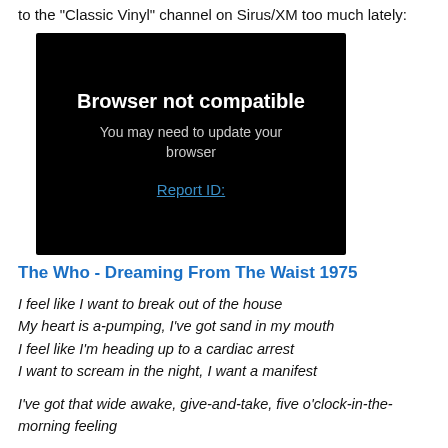to the "Classic Vinyl" channel on Sirus/XM too much lately:
[Figure (screenshot): Browser error message on black background reading 'Browser not compatible / You may need to update your browser / Report ID:']
The Who - Dreaming From The Waist 1975
I feel like I want to break out of the house
My heart is a-pumping, I've got sand in my mouth
I feel like I'm heading up to a cardiac arrest
I want to scream in the night, I want a manifest
I've got that wide awake, give-and-take, five o'clock-in-the-morning feeling